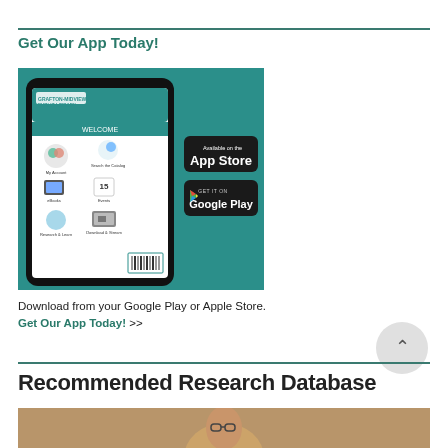Get Our App Today!
[Figure (screenshot): Grafton-Midview Public Library app screenshot on a smartphone against a teal background, with App Store and Google Play download buttons]
Download from your Google Play or Apple Store. Get Our App Today! >>
Recommended Research Database
[Figure (photo): Bottom portion of a photo showing a person, partially visible]